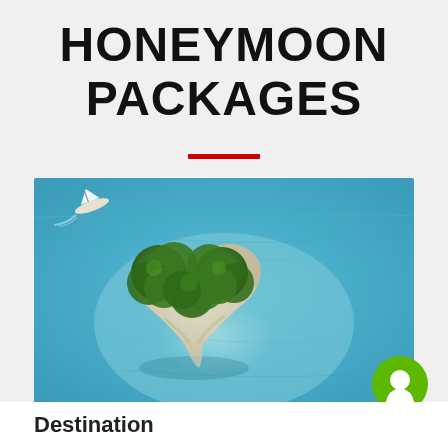HONEYMOON PACKAGES
[Figure (photo): Aerial view of a heart-shaped tropical island with green trees surrounded by turquoise water and white sandy beach, with a small boat visible in the upper left]
Destination